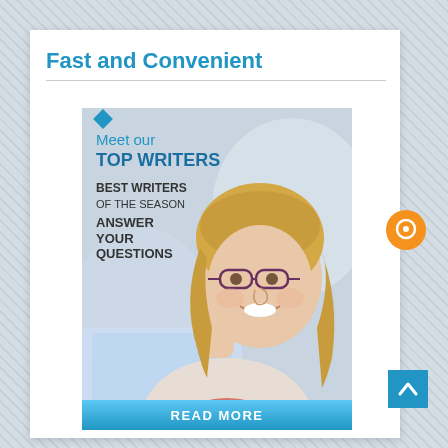Fast and Convenient
[Figure (illustration): Promotional banner for a writing service. Shows a smiling woman with glasses and blonde hair at a laptop. Text overlays read: 'Meet our TOP WRITERS / BEST WRITERS OF THE SEASON / ANSWER YOUR QUESTIONS'. Blue and green decorative lines and a diamond shape at top. Blue 'READ MORE' button at bottom.]